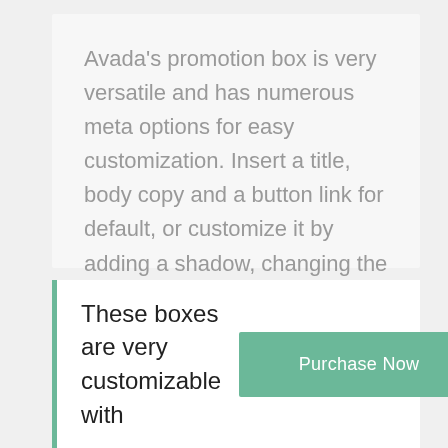Avada's promotion box is very versatile and has numerous meta options for easy customization. Insert a title, body copy and a button link for default, or customize it by adding a shadow, changing the background color, border size, border color and highlight position. Users can set custom links and link target for the button.
These boxes are very customizable with
Purchase Now